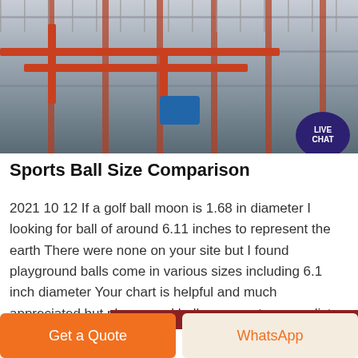[Figure (photo): Industrial building exterior with red pipes, metal railings, and blue motor/machinery visible. Live Chat bubble overlay in top-right corner.]
Sports Ball Size Comparison
2021 10 12 If a golf ball moon is 1.68 in diameter I looking for ball of around 6.11 inches to represent the earth There were none on your site but I found playground balls come in various sizes including 6.1 inch diameter Your chart is helpful and much appreciated but playground balls were not on your list.
Get a Quote
WhatsApp